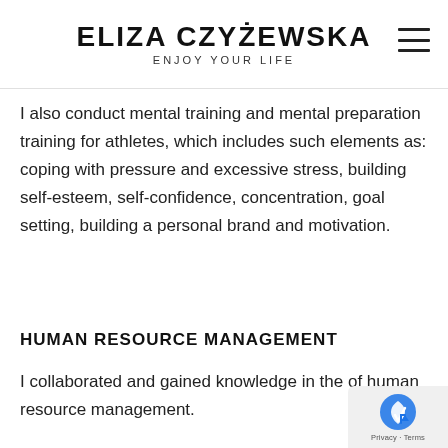ELIZA CZYŻEWSKA
ENJOY YOUR LIFE
I also conduct mental training and mental preparation training for athletes, which includes such elements as: coping with pressure and excessive stress, building self-esteem, self-confidence, concentration, goal setting, building a personal brand and motivation.
HUMAN RESOURCE MANAGEMENT
I collaborated and gained knowledge in the of human resource management.